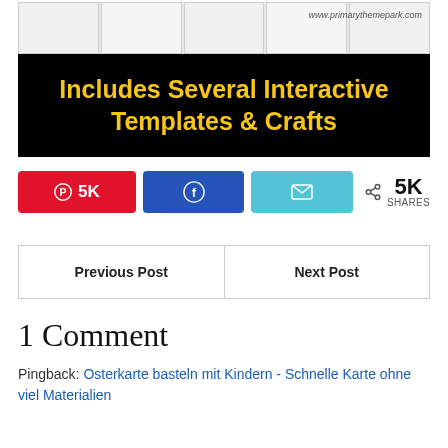[Figure (illustration): Black background banner image with yellow bold text reading 'Includes Several Interactive Templates & Crafts' and small educational craft template images at the top]
5K  [Pinterest share button]  [Facebook share button]  [Email share button]  < 5K SHARES
| Previous Post | Next Post |
| --- | --- |
1 Comment
Pingback: Osterkarte basteln mit Kindern - Schnelle Karte ohne viel Materialien